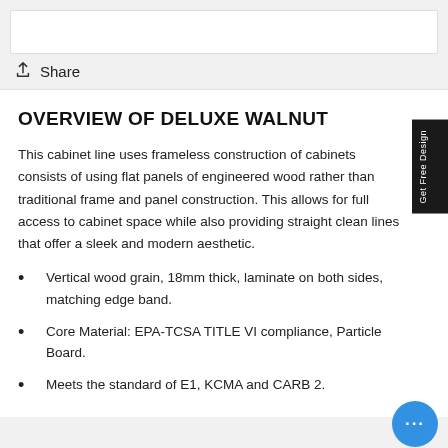[Figure (screenshot): White input/search bar at top of page]
Share
OVERVIEW OF DELUXE WALNUT
This cabinet line uses frameless construction of cabinets consists of using flat panels of engineered wood rather than traditional frame and panel construction. This allows for full access to cabinet space while also providing straight clean lines that offer a sleek and modern aesthetic.
Vertical wood grain, 18mm thick, laminate on both sides, matching edge band.
Core Material: EPA-TCSA TITLE VI compliance, Particle Board.
Meets the standard of E1, KCMA and CARB 2.